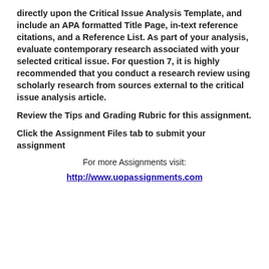directly upon the Critical Issue Analysis Template, and include an APA formatted Title Page, in-text reference citations, and a Reference List. As part of your analysis, evaluate contemporary research associated with your selected critical issue. For question 7, it is highly recommended that you conduct a research review using scholarly research from sources external to the critical issue analysis article.
Review the Tips and Grading Rubric for this assignment.
Click the Assignment Files tab to submit your assignment
For more Assignments visit:
http://www.uopassignments.com